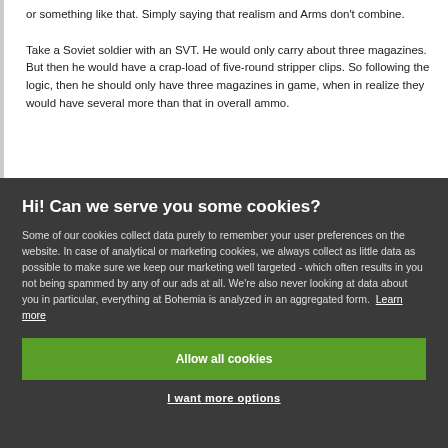or something like that. Simply saying that realism and Arms don't combine.

Take a Soviet soldier with an SVT. He would only carry about three magazines. But then he would have a crap-load of five-round stripper clips. So following the logic, then he should only have three magazines in game, when in realize they would have several more than that in overall ammo.
Hi! Can we serve you some cookies?
Some of our cookies collect data purely to remember your user preferences on the website. In case of analytical or marketing cookies, we always collect as little data as possible to make sure we keep our marketing well targeted - which often results in you not being spammed by any of our ads at all. We're also never looking at data about you in particular, everything at Bohemia is analyzed in an aggregated form. Learn more
Allow all cookies
I want more options